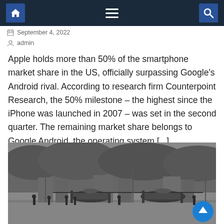Navigation bar with home, menu, and search icons
September 4, 2022
admin
Apple holds more than 50% of the smartphone market share in the US, officially surpassing Google's Android rival. According to research firm Counterpoint Research, the 50% milestone – the highest since the iPhone was launched in 2007 – was set in the second quarter. The remaining market share belongs to Google Android, the operating system [...]
[Figure (photo): Black and white photograph of helicopters on a tarmac or airfield, with several people visible and buildings/trees in the background. A blue scroll-to-top button overlays the bottom-right corner.]